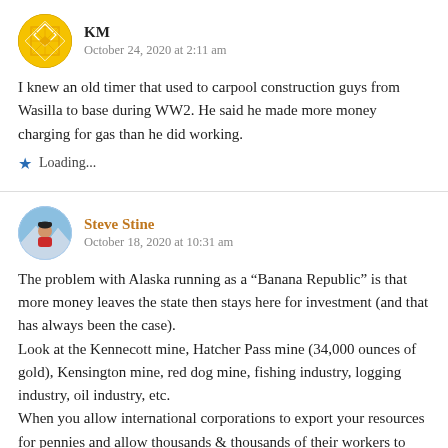KM
October 24, 2020 at 2:11 am
I knew an old timer that used to carpool construction guys from Wasilla to base during WW2. He said he made more money charging for gas than he did working.
Loading...
Steve Stine
October 18, 2020 at 10:31 am
The problem with Alaska running as a “Banana Republic” is that more money leaves the state then stays here for investment (and that has always been the case).
Look at the Kennecott mine, Hatcher Pass mine (34,000 ounces of gold), Kensington mine, red dog mine, fishing industry, logging industry, oil industry, etc.
When you allow international corporations to export your resources for pennies and allow thousands & thousands of their workers to earn a living in AK without paying income